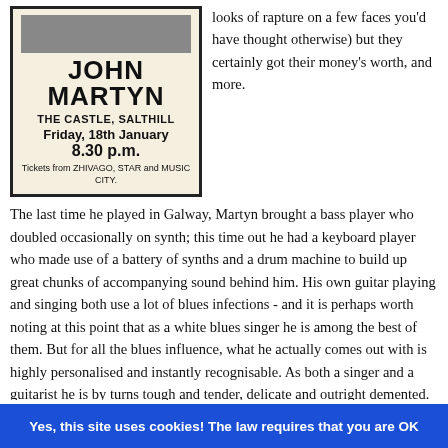[Figure (other): Concert advertisement box for John Martyn at The Castle, Salthill, Friday 18th January, 8.30 p.m. Tickets from ZHIVAGO, STAR and MUSIC CITY. Features a photo at top (obscured/cropped).]
looks of rapture on a few faces you'd have thought otherwise) but they certainly got their money's worth, and more.
The last time he played in Galway, Martyn brought a bass player who doubled occasionally on synth; this time out he had a keyboard player who made use of a battery of synths and a drum machine to build up great chunks of accompanying sound behind him. His own guitar playing and singing both use a lot of blues infections - and it is perhaps worth noting at this point that as a white blues singer he is among the best of them. But for all the blues influence, what he actually comes out with is highly personalised and instantly recognisable. As both a singer and a guitarist he is by turns tough and tender, delicate and outright demented.
Yes, this site uses cookies! The law requires that you are OK